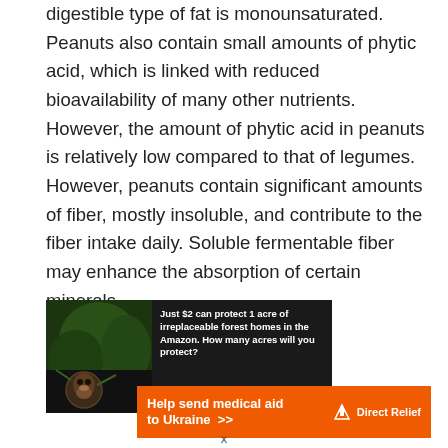digestible type of fat is monounsaturated. Peanuts also contain small amounts of phytic acid, which is linked with reduced bioavailability of many other nutrients. However, the amount of phytic acid in peanuts is relatively low compared to that of legumes. However, peanuts contain significant amounts of fiber, mostly insoluble, and contribute to the fiber intake daily. Soluble fermentable fiber may enhance the absorption of certain minerals.
[Figure (illustration): Advertisement banner for Amazon forest protection: dark background with monkey image, text 'Just $2 can protect 1 acre of irreplaceable forest homes in the Amazon. How many acres will you protect?' with green 'PROTECT FORESTS NOW' button.]
[Figure (illustration): Orange advertisement banner for Direct Relief: 'Help send medical aid to Ukraine >>' with Direct Relief logo on the right.]
x